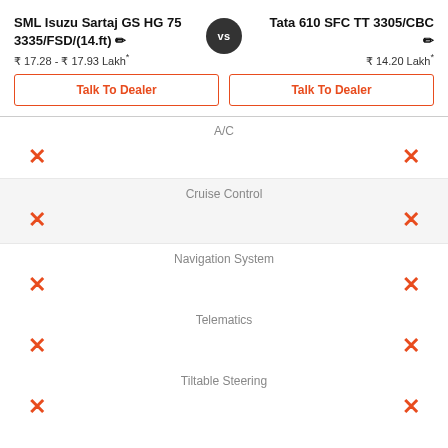SML Isuzu Sartaj GS HG 75 3335/FSD/(14.ft)
Tata 610 SFC TT 3305/CBC
₹ 17.28 - ₹ 17.93 Lakh*
₹ 14.20 Lakh*
Talk To Dealer
Talk To Dealer
A/C
Cruise Control
Navigation System
Telematics
Tiltable Steering